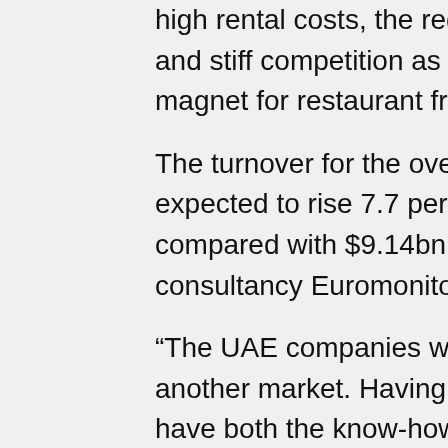high rental costs, the requirement to find a local partner and stiff competition as the country has become a magnet for restaurant franchises.
The turnover for the overall UAE food service sector is expected to rise 7.7 per cent to US$9.85 billion this year compared with $9.14bn last year, according to the consultancy Euromonitor International.
“The UAE companies want to replicate success story in another market. Having been successful at home, they have both the know-how and the capital needed for international expansion,” said Nikola Kosutic, the research manager at Euromonitor International in Dubai. “They also hope to capitalise on the global trend of increasing demand for ethnic food such as Middle Eastern.”
FoodFund’s foreign plan has three aspects:
• Opening a steakhouse called Inyama, which means “meat” in Zulu, on the Greek island of